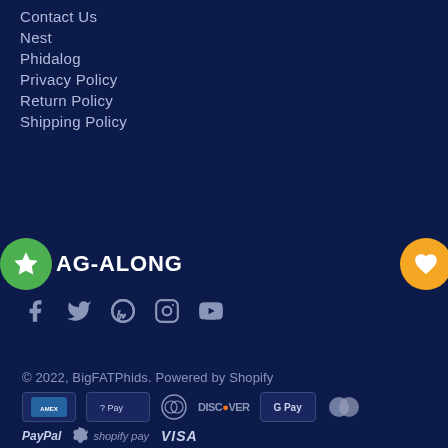Contact Us
Nest
Phidalog
Privacy Policy
Return Policy
Shipping Policy
AG-ALONG
[Figure (logo): Social media icons: Facebook, Twitter, Pinterest, Instagram, YouTube]
© 2022, BigFATPhids. Powered by Shopify
[Figure (logo): Payment method icons: American Express, Apple Pay, Diners Club, Discover, Google Pay, MasterCard, PayPal, Shopify Pay, Visa]